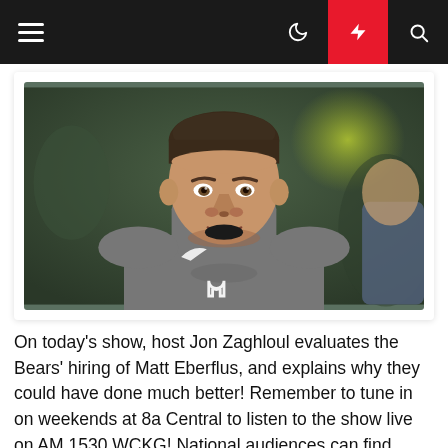Navigation bar with menu, moon, lightning, and search icons
[Figure (photo): A man wearing a gray Indianapolis Colts Nike hoodie, appearing to be a football coach, photographed outdoors with a green blurred background.]
On today's show, host Jon Zaghloul evaluates the Bears' hiring of Matt Eberflus, and explains why they could have done much better! Remember to tune in on weekends at 8a Central to listen to the show live on AM 1530 WCKG! National audiences can find WCKG on iHeart Radio and livestream the show...